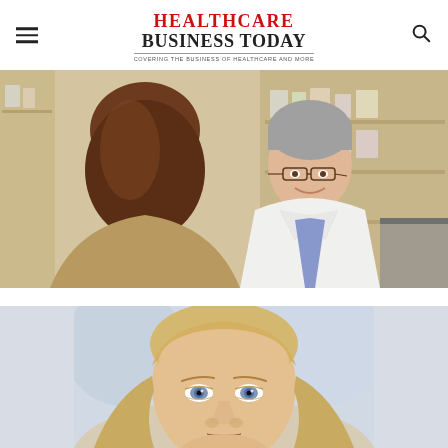Healthcare Business Today — Covering the business of healthcare and more
[Figure (photo): Pharmacist in white lab coat smiling at a female patient seen from behind, in a pharmacy setting with shelves of medication.]
[Figure (photo): Close-up portrait of a middle-aged woman with blonde hair and blue eyes, looking directly at the camera with a neutral expression.]